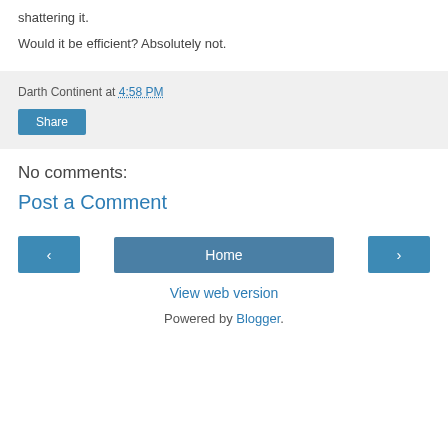shattering it.
Would it be efficient? Absolutely not.
Darth Continent at 4:58 PM
Share
No comments:
Post a Comment
‹
Home
›
View web version
Powered by Blogger.